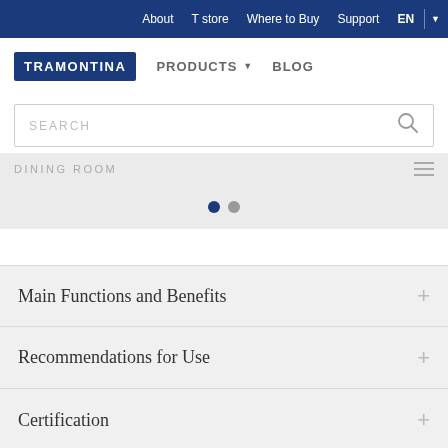About  T store  Where to Buy  Support  EN
TRAMONTINA  PRODUCTS  BLOG
SEARCH
DINING ROOM
Main Functions and Benefits
Recommendations for Use
Certification